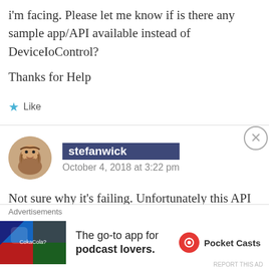i'm facing. Please let me know if is there any sample app/API available instead of DeviceIoControl?
Thanks for Help
Like
stefanwick
October 4, 2018 at 3:22 pm
Not sure why it's failing. Unfortunately this API is outside of my area of expertise. I'd suggest you post your question on Stackoverflow tagged with 'UWP'. Microsoft support folks as well as
Advertisements
[Figure (infographic): Advertisement for Pocket Casts app: 'The go-to app for podcast lovers.' with colorful app icon and Pocket Casts logo]